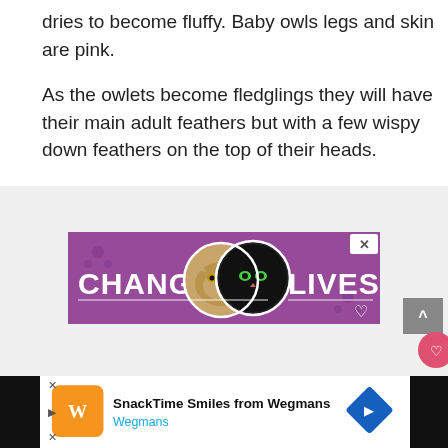dries to become fluffy. Baby owls legs and skin are pink.
As the owlets become fledglings they will have their main adult feathers but with a few wispy down feathers on the top of their heads.
[Figure (illustration): Purple banner advertisement with two cat faces (one tabby, one black) and bold white text reading CHANGE LIVES with a heart icon and X close button]
[Figure (screenshot): Scroll-to-top button (grey square with up caret) and heart/share floating action buttons on the right side]
[Figure (screenshot): Bottom banner ad for SnackTime Smiles from Wegmans with orange Wegmans logo icon, text, and blue diamond navigation icon]